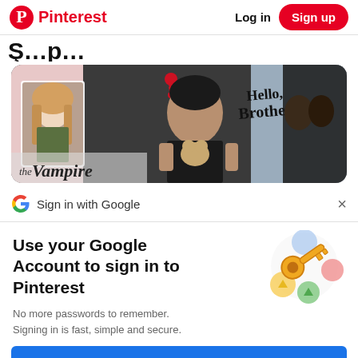Pinterest  Log in  Sign up
S…p…
[Figure (photo): Collage image with The Vampire Diaries themed content: a blonde woman, a man with tattoos holding a teddy bear, 'Hello Brother' text, a kissing couple silhouette, blood drop graphic, and 'the Vampire' logo text]
Sign in with Google
Use your Google Account to sign in to Pinterest
No more passwords to remember.
Signing in is fast, simple and secure.
[Figure (illustration): Google account illustration showing a golden key and colorful circular icons (blue, yellow, green, red/pink) on a light background]
Continue